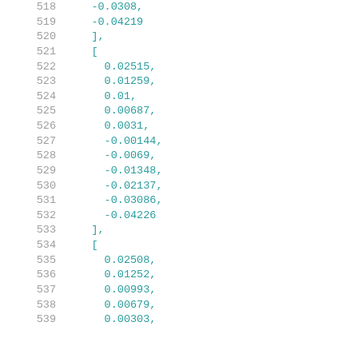518    -0.0308,
519    -0.04219
520    ],
521    [
522      0.02515,
523      0.01259,
524      0.01,
525      0.00687,
526      0.0031,
527      -0.00144,
528      -0.0069,
529      -0.01348,
530      -0.02137,
531      -0.03086,
532      -0.04226
533    ],
534    [
535      0.02508,
536      0.01252,
537      0.00993,
538      0.00679,
539      0.00303,